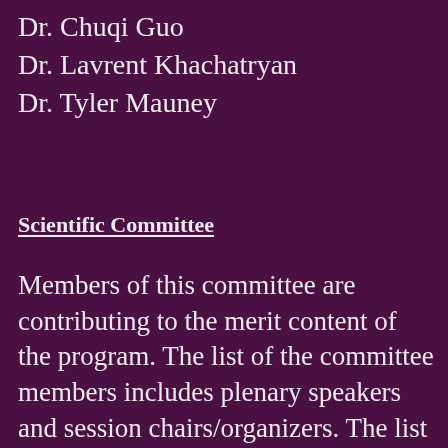Dr. Chuqi Guo
Dr. Lavrent Khachatryan
Dr. Tyler Mauney
Scientific Committee
Members of this committee are contributing to the merit content of the program. The list of the committee members includes plenary speakers and session chairs/organizers. The list is expanding with the development of the program. Please contact the organizers at diginaes.org if you would like to